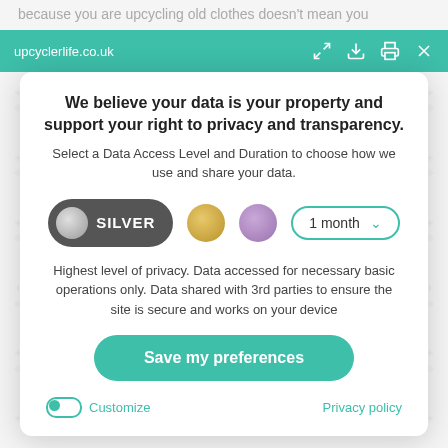upcyclerlife.co.uk
We believe your data is your property and support your right to privacy and transparency.
Select a Data Access Level and Duration to choose how we use and share your data.
[Figure (infographic): Privacy tier selector with Silver (active/dark grey pill button with circle), Gold (yellow circle), Purple (purple circle) options, and a '1 month' dropdown selector]
Highest level of privacy. Data accessed for necessary basic operations only. Data shared with 3rd parties to ensure the site is secure and works on your device
Save my preferences
Customize
Privacy policy